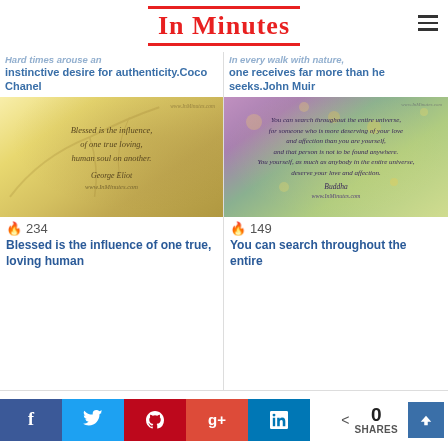In Minutes
instinctive desire for authenticity.Coco Chanel
one receives far more than he seeks.John Muir
[Figure (illustration): Quote image: 'Blessed is the influence, of one true loving, human soul on another. George Eliot' on a yellow-brown painted background with www.InMinutes.com watermark]
234
Blessed is the influence of one true, loving human
[Figure (illustration): Quote image: 'You can search throughout the entire universe, for someone who is more deserving of your love and affection than you are yourself, and that person is not to be found anywhere. You yourself, as much as anybody in the entire universe, deserve your love and affection. Buddha' on a purple-green floral background with www.InMinutes.com watermark]
149
You can search throughout the entire
Social share bar: Facebook, Twitter, Pinterest, Google+, LinkedIn | 0 SHARES